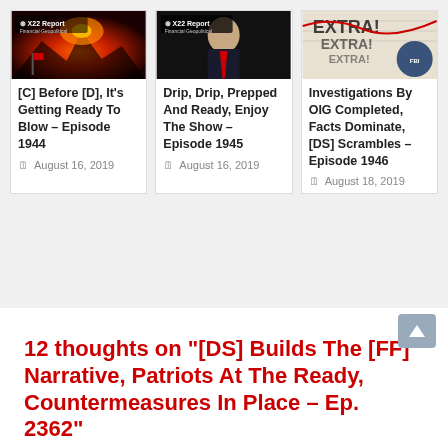[Figure (screenshot): X22 Report thumbnail with volcanic eruption and red sky]
[C] Before [D], It’s Getting Ready To Blow – Episode 1944
August 16, 2019
[Figure (screenshot): X22 Report thumbnail with Donald Trump in dark background]
Drip, Drip, Prepped And Ready, Enjoy The Show – Episode 1945
August 16, 2019
[Figure (screenshot): Newspaper Extra headline with FBI seal]
Investigations By OIG Completed, Facts Dominate, [DS] Scrambles – Episode 1946
August 18, 2019
12 thoughts on “[DS] Builds The [FF] Narrative, Patriots At The Ready, Countermeasures In Place – Ep. 2362”